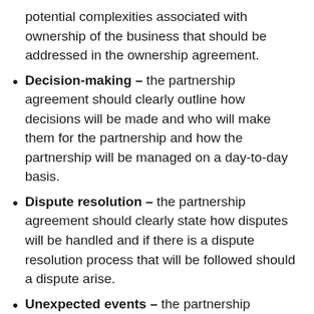potential complexities associated with ownership of the business that should be addressed in the ownership agreement.
Decision-making – the partnership agreement should clearly outline how decisions will be made and who will make them for the partnership and how the partnership will be managed on a day-to-day basis.
Dispute resolution – the partnership agreement should clearly state how disputes will be handled and if there is a dispute resolution process that will be followed should a dispute arise.
Unexpected events – the partnership agreement should address what will happen if an unexpected event arises such as a